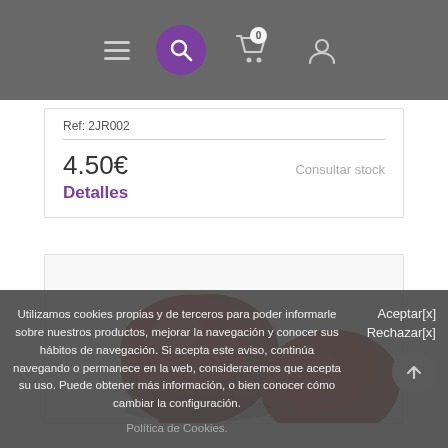Navigation bar with hamburger menu, search, cart (0), and user icon
Ref: 2JR002
4.50€
Consultar stock
Detalles
[Figure (photo): Red boxing gloves product photo on white background]
Utilizamos cookies propias y de terceros para poder informarle sobre nuestros productos, mejorar la navegación y conocer sus hábitos de navegación. Si acepta este aviso, continúa navegando o permanece en la web, consideraremos que acepta su uso. Puede obtener más información, o bien conocer cómo cambiar la configuración.
Política de Cookies.
Aceptar[x]
Rechazar[x]